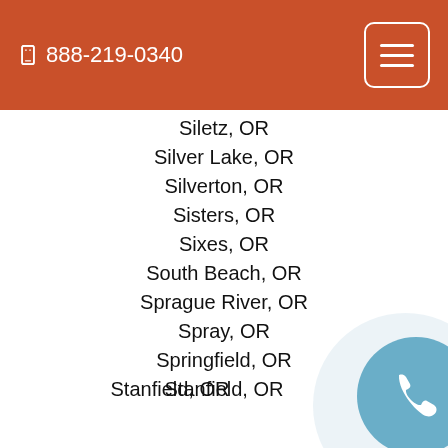888-219-0340
Siletz, OR
Silver Lake, OR
Silverton, OR
Sisters, OR
Sixes, OR
South Beach, OR
Sprague River, OR
Spray, OR
Springfield, OR
Stanfield, OR
Stayton, OR
Sublimity, OR
Summer Lake, OR
Summerville, OR
Sumpter, OR
Sutherlin, OR
Sweet Home, OR
Swisshome, OR
[Figure (illustration): Phone call button: a circular button with a light blue background containing a white telephone handset icon]